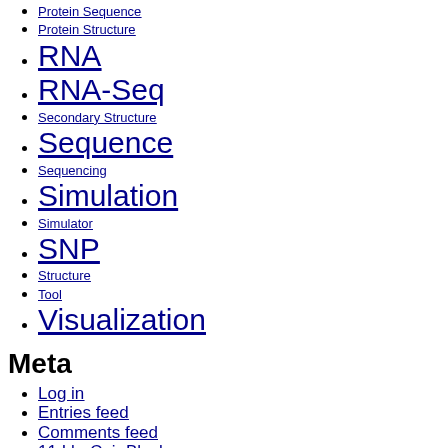Protein Sequence
Protein Structure
RNA
RNA-Seq
Secondary Structure
Sequence
Sequencing
Simulation
Simulator
SNP
Structure
Tool
Visualization
Meta
Log in
Entries feed
Comments feed
11 Lb. Coir Block
Twitter